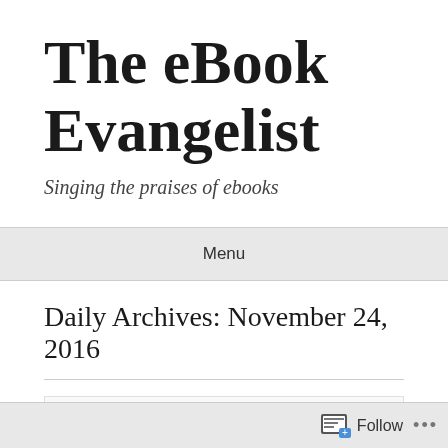The eBook Evangelist
Singing the praises of ebooks
Menu
Daily Archives: November 24, 2016
Amazon's Black